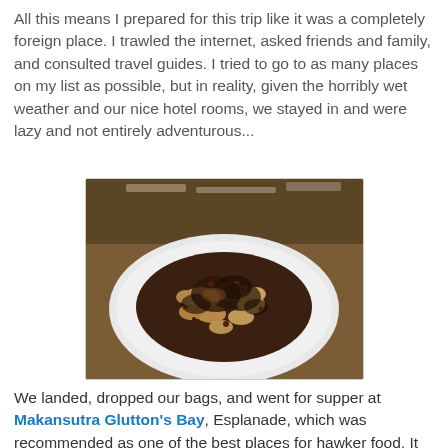All this means I prepared for this trip like it was a completely foreign place. I trawled the internet, asked friends and family, and consulted travel guides. I tried to go to as many places on my list as possible, but in reality, given the horribly wet weather and our nice hotel rooms, we stayed in and were lazy and not entirely adventurous...
[Figure (photo): A plate of stir-fried or braised food, dark sauced meat and vegetables served on a white plate, placed on a wooden table with chopsticks and dishes visible in the background.]
We landed, dropped our bags, and went for supper at Makansutra Glutton's Bay, Esplanade, which was recommended as one of the best places for hawker food. It started raining as soon as we got off the cab so we hid under the umbrellas at the open air hawker area and quickly